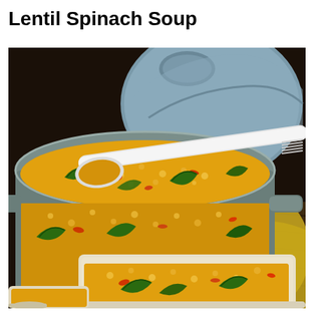Lentil Spinach Soup
[Figure (photo): A large gray Dutch oven pot filled with golden-orange lentil spinach soup, with visible green spinach leaves and red peppers. A white ladle/spoon rests across the pot. In the upper background, the gray lid of the pot is visible. In the lower foreground, a white rectangular bowl is filled with the same lentil spinach soup. A yellow cloth napkin is visible on the right side. The scene is set on a dark wooden surface.]